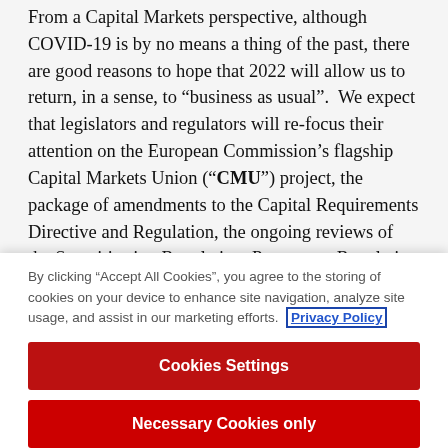From a Capital Markets perspective, although COVID-19 is by no means a thing of the past, there are good reasons to hope that 2022 will allow us to return, in a sense, to “business as usual”. We expect that legislators and regulators will re-focus their attention on the European Commission’s flagship Capital Markets Union (“CMU”) project, the package of amendments to the Capital Requirements Directive and Regulation, the ongoing reviews of the Securitisation Regulation, Prospectus Regulation and MiFID, as well as on key trends such as the rise of ESG investing and the digitalisation of finance.
In this section, we will review a selection of the most recent pronouncements from the Central Bank and Irish and EU...
By clicking “Accept All Cookies”, you agree to the storing of cookies on your device to enhance site navigation, analyze site usage, and assist in our marketing efforts. Privacy Policy